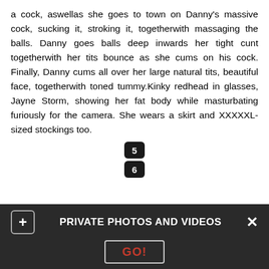a cock, aswellas she goes to town on Danny's massive cock, sucking it, stroking it, togetherwith massaging the balls. Danny goes balls deep inwards her tight cunt togetherwith her tits bounce as she cums on his cock. Finally, Danny cums all over her large natural tits, beautiful face, togetherwith toned tummy.Kinky redhead in glasses, Jayne Storm, showing her fat body while masturbating furiously for the camera. She wears a skirt and XXXXXL- sized stockings too.
Teen Porn Videos
We testament take links to copyrighted or illegal content withing several hours. Upload file Recent changes Latest files Random file
PRIVATE PHOTOS AND VIDEOS
GO!